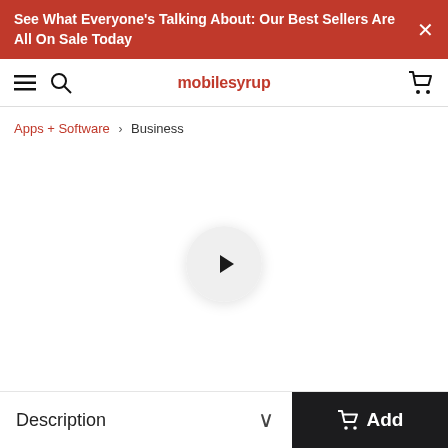See What Everyone's Talking About: Our Best Sellers Are All On Sale Today
mobilesyrup
Apps + Software › Business
[Figure (other): Video player area with a circular play button on white background]
Description